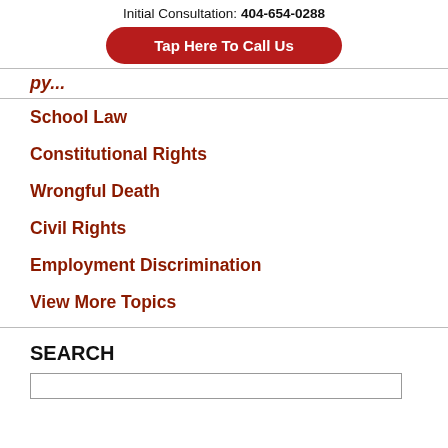Initial Consultation: 404-654-0288
Tap Here To Call Us
...py...
School Law
Constitutional Rights
Wrongful Death
Civil Rights
Employment Discrimination
View More Topics
SEARCH